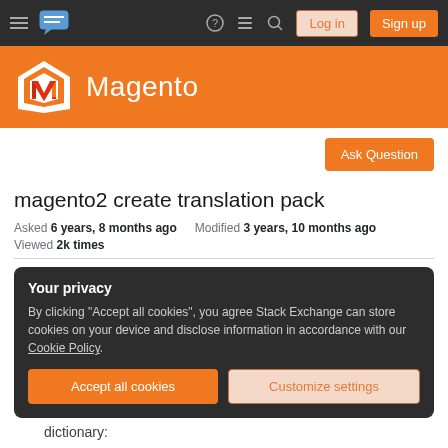Magento Stack Exchange — Log in | Sign up
[Figure (logo): Magento logo with orange and white geometric M icon and 'Magento' text in white on orange background]
Ask Question
magento2 create translation pack
Asked 6 years, 8 months ago   Modified 3 years, 10 months ago
Viewed  2k times
Your privacy
By clicking "Accept all cookies", you agree Stack Exchange can store cookies on your device and disclose information in accordance with our Cookie Policy.
Accept all cookies   Customize settings
dictionary: